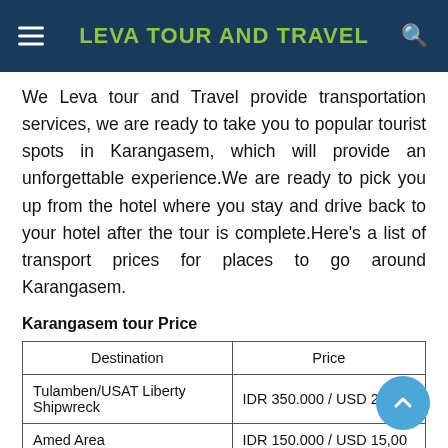LEVA TOUR AND TRAVEL
We Leva tour and Travel provide transportation services, we are ready to take you to popular tourist spots in Karangasem, which will provide an unforgettable experience.We are ready to pick you up from the hotel where you stay and drive back to your hotel after the tour is complete.Here's a list of transport prices for places to go around Karangasem.
Karangasem tour Price
| Destination | Price |
| --- | --- |
| Tulamben/USAT Liberty Shipwreck | IDR 350.000 / USD 25,00 |
| Amed Area | IDR 150.000 / USD 15,00 |